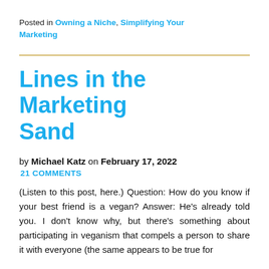Posted in Owning a Niche, Simplifying Your Marketing
Lines in the Marketing Sand
by Michael Katz on February 17, 2022
21 COMMENTS
(Listen to this post, here.) Question: How do you know if your best friend is a vegan? Answer: He's already told you. I don't know why, but there's something about participating in veganism that compels a person to share it with everyone (the same appears to be true for